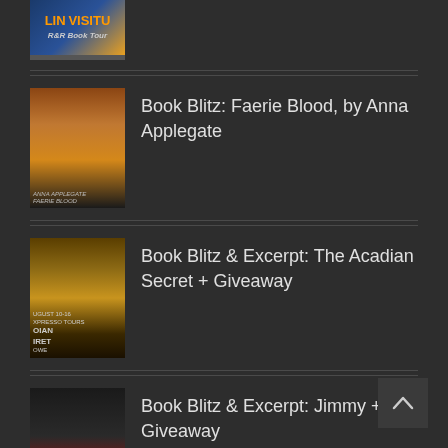[Figure (photo): Partial book tour banner with LIN VISITING R&R Book Tour logo, cropped at top]
[Figure (photo): Book cover for Faerie Blood by Anna Applegate showing a woman with long brown hair against a golden background]
Book Blitz: Faerie Blood, by Anna Applegate
[Figure (photo): Book cover for The Acadian Secret showing dark golden tones with text AUGUST 10-16 XPRESSO TOURS and LOWE at bottom]
Book Blitz & Excerpt: The Acadian Secret + Giveaway
[Figure (photo): Book cover for Jimmy showing a man with dark beard and red/orange title text, Ma and Sla partially visible]
Book Blitz & Excerpt: Jimmy + Giveaway